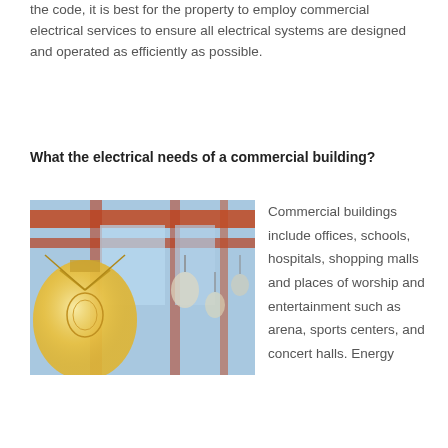the code, it is best for the property to employ commercial electrical services to ensure all electrical systems are designed and operated as efficiently as possible.
What the electrical needs of a commercial building?
[Figure (photo): Close-up photo of vintage Edison-style light bulbs hanging in an outdoor commercial space with structural beams and sky in background]
Commercial buildings include offices, schools, hospitals, shopping malls and places of worship and entertainment such as arena, sports centers, and concert halls. Energy